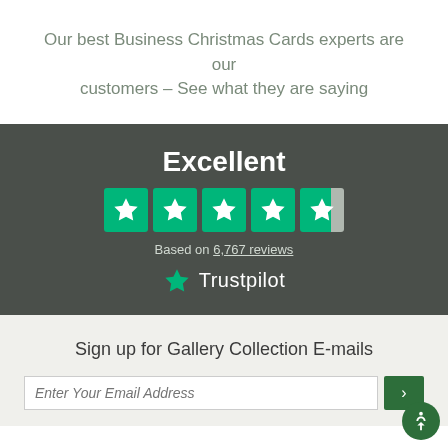Our best Business Christmas Cards experts are our customers – See what they are saying
[Figure (infographic): Trustpilot rating widget on dark background showing 'Excellent' rating with 4.7/5 stars based on 6,767 reviews, with Trustpilot logo]
Sign up for Gallery Collection E-mails